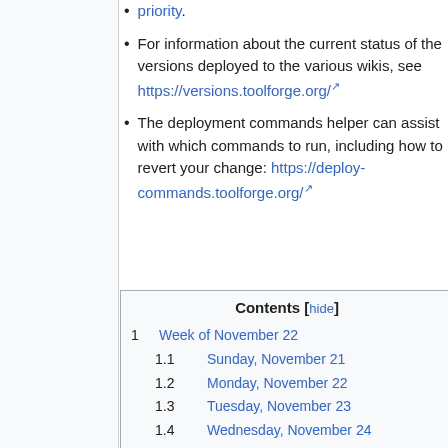priority.
For information about the current status of the versions deployed to the various wikis, see https://versions.toolforge.org/
The deployment commands helper can assist with which commands to run, including how to revert your change: https://deploy-commands.toolforge.org/
| Contents [hide] |
| 1  Week of November 22 |
| 1.1  Sunday, November 21 |
| 1.2  Monday, November 22 |
| 1.3  Tuesday, November 23 |
| 1.4  Wednesday, November 24 |
| 1.5  Thursday, November 25 |
| 1.6  Friday, November 26 |
| 1.7  Saturday, November 27 |